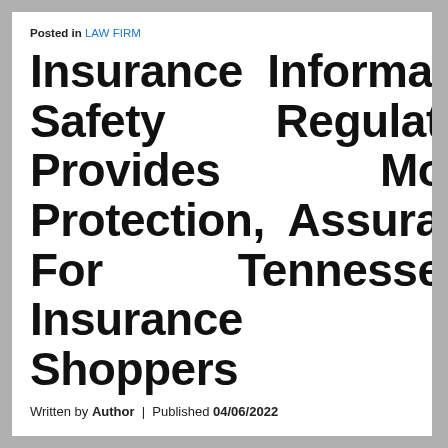Posted in LAW FIRM
Insurance Information Safety Regulation Provides More Protection, Assurance For Tennessee Insurance Shoppers
Written by Author | Published 04/06/2022
Your insurance firm might deduct a limitless amount from the value in case your vehicle has been a total loss. With insurance, The...